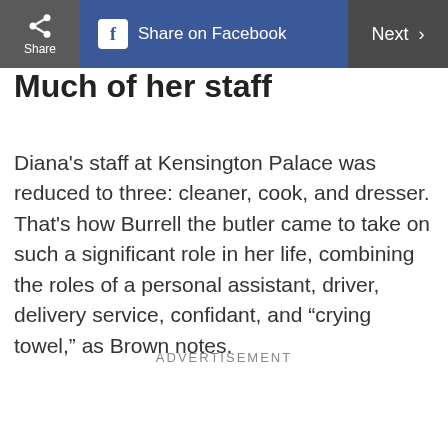Share | Share on Facebook | Next >
Much of her staff
Diana's staff at Kensington Palace was reduced to three: cleaner, cook, and dresser. That's how Burrell the butler came to take on such a significant role in her life, combining the roles of a personal assistant, driver, delivery service, confidant, and “crying towel,” as Brown notes.
ADVERTISEMENT